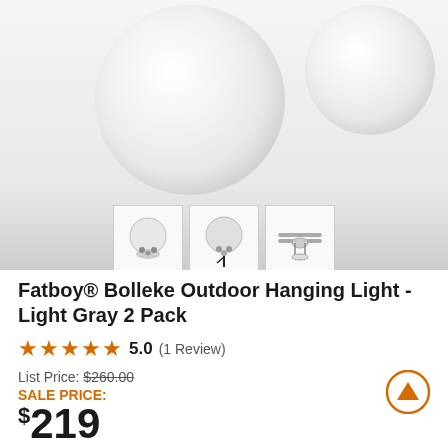[Figure (photo): Product photo of two white globe pendant lights on gradient gray background, with three thumbnail images below showing mount details]
Fatboy® Bolleke Outdoor Hanging Light - Light Gray 2 Pack
★★★★★ 5.0 (1 Review)
List Price: $260.00
SALE PRICE: $219
YOU SAVE: $41 (16%)
+ FREE Shipping (Ships in 48 hours)
Ships via FedEx Ground see details